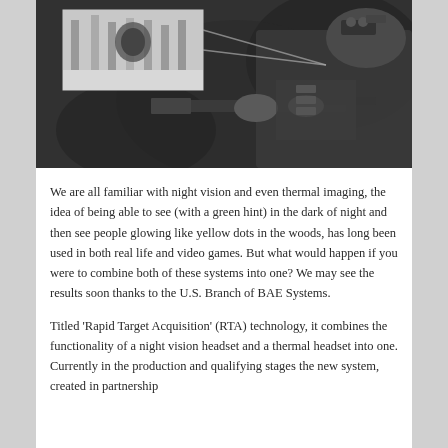[Figure (photo): Black and white photo of a soldier aiming a rifle with a night vision / thermal imaging headset mounted on helmet. An inset image in the upper left shows a thermal/night vision view of a target in a forest environment. A beam/line extends from the inset image toward the soldier's scope.]
We are all familiar with night vision and even thermal imaging, the idea of being able to see (with a green hint) in the dark of night and then see people glowing like yellow dots in the woods, has long been used in both real life and video games. But what would happen if you were to combine both of these systems into one? We may see the results soon thanks to the U.S. Branch of BAE Systems.
Titled 'Rapid Target Acquisition' (RTA) technology, it combines the functionality of a night vision headset and a thermal headset into one. Currently in the production and qualifying stages the new system, created in partnership